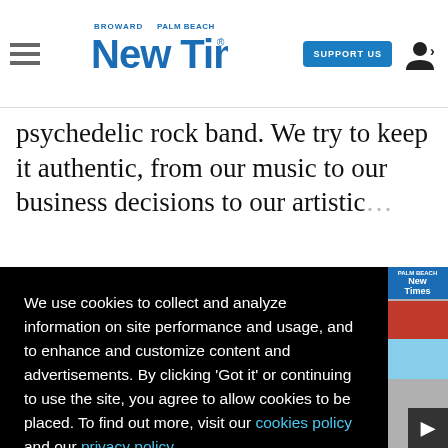Broward Palm Beach New Times — SUPPORT US
psychedelic rock band. We try to keep it authentic, from our music to our business decisions to our artistic...
We use cookies to collect and analyze information on site performance and usage, and to enhance and customize content and advertisements. By clicking 'Got it' or continuing to use the site, you agree to allow cookies to be placed. To find out more, visit our cookies policy and our privacy policy.
Got it!